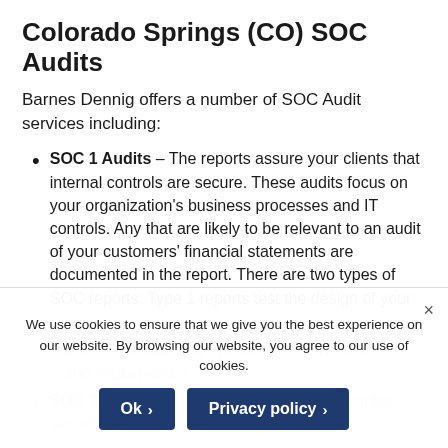Colorado Springs (CO) SOC Audits
Barnes Dennig offers a number of SOC Audit services including:
SOC 1 Audits – The reports assure your clients that internal controls are secure. These audits focus on your organization's business processes and IT controls. Any that are likely to be relevant to an audit of your customers' financial statements are documented in the report. There are two types of SOC reports: Type 1 reports test the design of your organization's controls. Type 2 reports test both the design and operating effectiveness, whether your controls are being followed and implemented.
SOC 2 – [partially visible] concentrate on five Trust Services Principles: security,
We use cookies to ensure that we give you the best experience on our website. By browsing our website, you agree to our use of cookies.